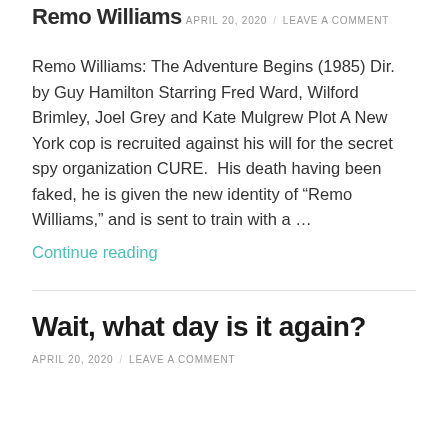Remo Williams
APRIL 20, 2020 / LEAVE A COMMENT
Remo Williams: The Adventure Begins (1985) Dir. by Guy Hamilton Starring Fred Ward, Wilford Brimley, Joel Grey and Kate Mulgrew Plot A New York cop is recruited against his will for the secret spy organization CURE.  His death having been faked, he is given the new identity of “Remo Williams,” and is sent to train with a …
Continue reading
Wait, what day is it again?
APRIL 20, 2020 / LEAVE A COMMENT